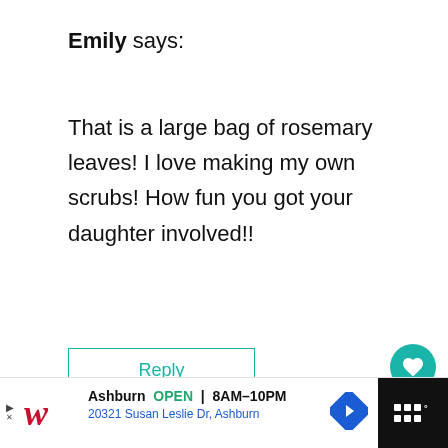Emily says:
That is a large bag of rosemary leaves! I love making my own scrubs! How fun you got your daughter involved!!
Reply
[Figure (other): Teal heart like button circle]
[Figure (other): Share button circle with share icon]
[Figure (other): What's Next thumbnail - Chocolate Peppermint]
WHAT'S NEXT → Chocolate Peppermint...
Krystyn says:
Ashburn OPEN | 8AM–10PM 20321 Susan Leslie Dr, Ashburn